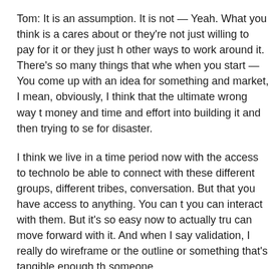Tom: It is an assumption. It is not — Yeah. What you think is a cares about or they're not just willing to pay for it or they just h other ways to work around it. There's so many things that whe when you start — You come up with an idea for something and market, I mean, obviously, I think that the ultimate wrong way t money and time and effort into building it and then trying to se for disaster.
I think we live in a time period now with the access to technolo be able to connect with these different groups, different tribes, conversation. But that you have access to anything. You can t you can interact with them. But it's so easy now to actually tru can move forward with it. And when I say validation, I really do wireframe or the outline or something that's tangible enough th someone.
And kind of bring this back to the beginning of the conversatio said that you can sell essentially a promise, in some ways. It's but that you're selling somebody whether it's an early adopter,